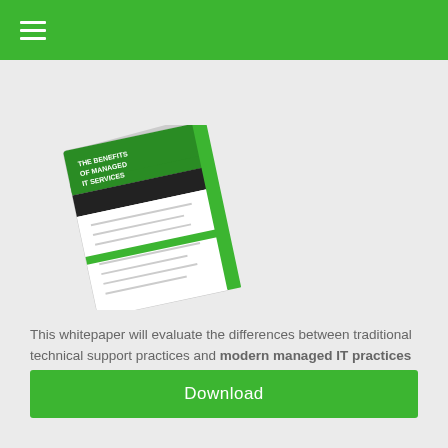≡
[Figure (photo): A whitepaper booklet titled 'The Benefits of Managed IT Services' shown at an angle with green and dark covers]
This whitepaper will evaluate the differences between traditional technical support practices and modern managed IT practices and the pros and cons of both in regards to small and medium-sized businesses.
Download